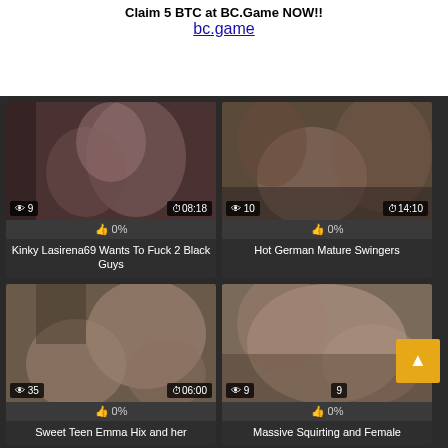[Figure (screenshot): Advertisement banner: Claim 5 BTC at BC.Game NOW!! with link bc.game]
[Figure (screenshot): Video thumbnail: Kinky Lasirena69 Wants To Fuck 2 Black Guys, 9 views, 08:18 duration, 0% likes]
[Figure (screenshot): Video thumbnail: Hot German Mature Swingers, 10 views, 14:10 duration, 0% likes]
[Figure (screenshot): Video thumbnail: Sweet Teen Emma Hix and her..., 35 views, 06:00 duration, 0% likes]
[Figure (screenshot): Video thumbnail: Massive Squirting and Female..., 9 views, duration partially visible, 0% likes]